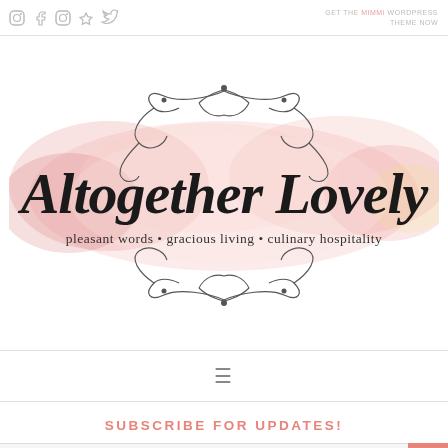GET THE [theme] WORDPRESS THEME NOW
[Figure (logo): Altogether Lovely blog logo with decorative scroll flourishes and watercolor floral background. Text reads: 'Altogether Lovely' in script, with tagline 'pleasant words • gracious living • culinary hospitality']
≡
SUBSCRIBE FOR UPDATES!